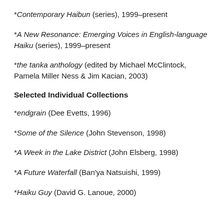*Contemporary Haibun (series), 1999–present
*A New Resonance: Emerging Voices in English-language Haiku (series), 1999–present
*the tanka anthology (edited by Michael McClintock, Pamela Miller Ness & Jim Kacian, 2003)
Selected Individual Collections
*endgrain (Dee Evetts, 1996)
*Some of the Silence (John Stevenson, 1998)
*A Week in the Lake District (John Elsberg, 1998)
*A Future Waterfall (Ban'ya Natsuishi, 1999)
*Haiku Guy (David G. Lanoue, 2000)